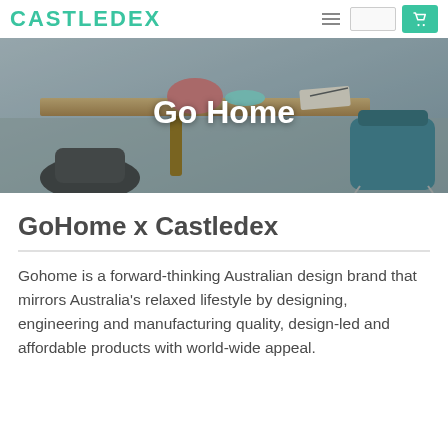CASTLEDEX
[Figure (photo): Hero banner image showing a dining/office table scene with chairs, including a pink chair, teal upholstered chair, wooden table with a bowl and notebook on top. Overlaid with the text 'Go Home' in white.]
GoHome x Castledex
Gohome is a forward-thinking Australian design brand that mirrors Australia's relaxed lifestyle by designing, engineering and manufacturing quality, design-led and affordable products with world-wide appeal.